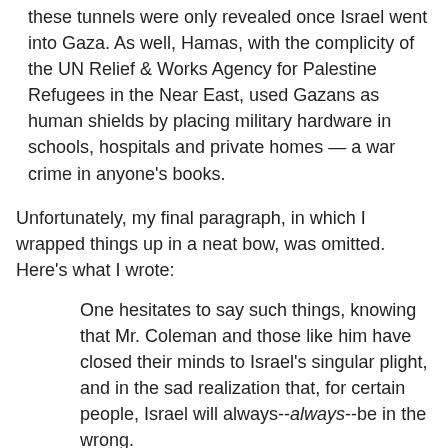these tunnels were only revealed once Israel went into Gaza. As well, Hamas, with the complicity of the UN Relief & Works Agency for Palestine Refugees in the Near East, used Gazans as human shields by placing military hardware in schools, hospitals and private homes — a war crime in anyone's books.
Unfortunately, my final paragraph, in which I wrapped things up in a neat bow, was omitted. Here's what I wrote:
One hesitates to say such things, knowing that Mr. Coleman and those like him have closed their minds to Israel's singular plight, and in the sad realization that, for certain people, Israel will always--always--be in the wrong.
scaramouche at 2:00 PM
No comments:
Post a Comment